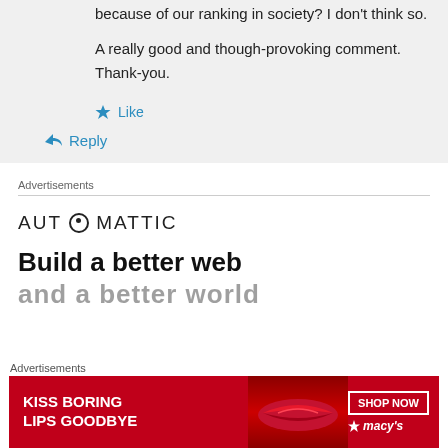because of our ranking in society? I don't think so.
A really good and though-provoking comment. Thank-you.
Like
Reply
Advertisements
[Figure (logo): Automattic logo with circular O]
Build a better web
Advertisements
[Figure (infographic): Macy's advertisement: KISS BORING LIPS GOODBYE with SHOP NOW button and Macy's star logo on red background]